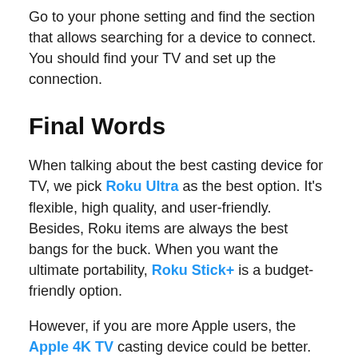Go to your phone setting and find the section that allows searching for a device to connect. You should find your TV and set up the connection.
Final Words
When talking about the best casting device for TV, we pick Roku Ultra as the best option. It's flexible, high quality, and user-friendly. Besides, Roku items are always the best bangs for the buck. When you want the ultimate portability, Roku Stick+ is a budget-friendly option.
However, if you are more Apple users, the Apple 4K TV casting device could be better.